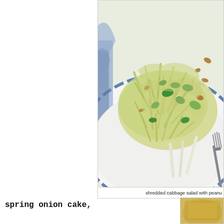[Figure (photo): A plate of shredded cabbage salad with peanuts, served on a blue and white plate with a fork. The salad contains green vegetables mixed with shredded cabbage and peanuts.]
shredded cabbage salad with peanu...
spring onion cake,
[Figure (photo): Partial view of a second food photo at bottom of page.]